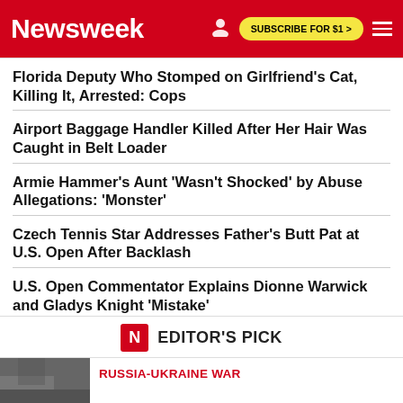Newsweek
Florida Deputy Who Stomped on Girlfriend's Cat, Killing It, Arrested: Cops
Airport Baggage Handler Killed After Her Hair Was Caught in Belt Loader
Armie Hammer's Aunt 'Wasn't Shocked' by Abuse Allegations: 'Monster'
Czech Tennis Star Addresses Father's Butt Pat at U.S. Open After Backlash
U.S. Open Commentator Explains Dionne Warwick and Gladys Knight 'Mistake'
EDITOR'S PICK
RUSSIA-UKRAINE WAR